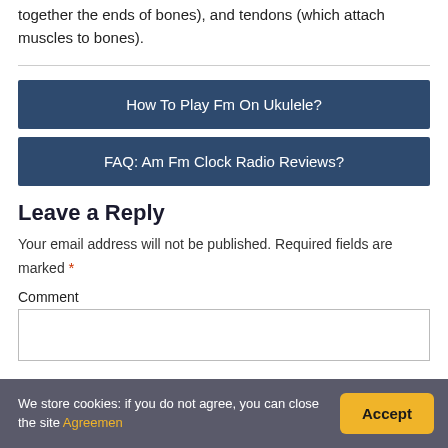together the ends of bones), and tendons (which attach muscles to bones).
How To Play Fm On Ukulele?
FAQ: Am Fm Clock Radio Reviews?
Leave a Reply
Your email address will not be published. Required fields are marked *
Comment
We store cookies: if you do not agree, you can close the site Agreemen